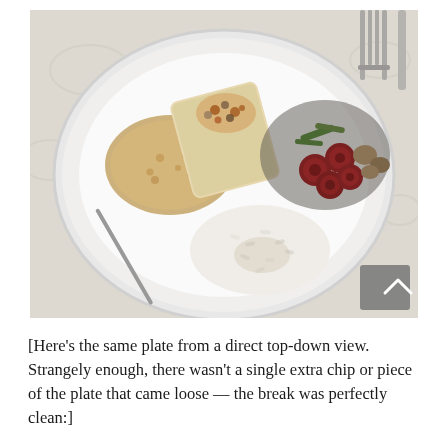[Figure (photo): A top-down view of a white plate on a floral tablecloth, containing several food items: sliced sausage with sautéed vegetables (mushrooms, green beans), rice, a casserole or stuffed item with toppings, and what appears to be macaroni and cheese. A fork and knife are visible in the upper right. A gray scroll-to-top button appears in the lower right corner of the image.]
[Here's the same plate from a direct top-down view. Strangely enough, there wasn't a single extra chip or piece of the plate that came loose — the break was perfectly clean:]